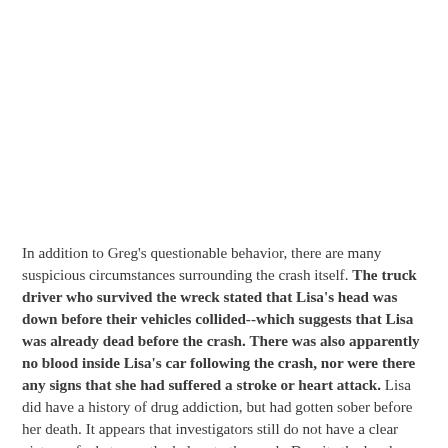In addition to Greg's questionable behavior, there are many suspicious circumstances surrounding the crash itself. The truck driver who survived the wreck stated that Lisa's head was down before their vehicles collided--which suggests that Lisa was already dead before the crash. There was also apparently no blood inside Lisa's car following the crash, nor were there any signs that she had suffered a stroke or heart attack. Lisa did have a history of drug addiction, but had gotten sober before her death. It appears that investigators still do not have a clear picture of what, exactly, led up to the crash. Despite the local